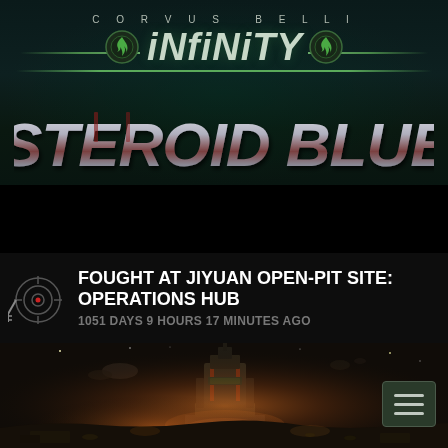[Figure (logo): Corvus Belli Infinity logo with 'Asteroid Blues' game title on dark teal background with hex texture and decorative green line accents and flame icons]
[Figure (screenshot): Navigation bar with dark green hex-pattern background and hamburger menu button on right side]
FOUGHT AT JIYUAN OPEN-PIT SITE: OPERATIONS HUB
1051 DAYS 9 HOURS 17 MINUTES AGO
[Figure (photo): Dark atmospheric sci-fi scene showing a large industrial tower structure on an asteroid or alien landscape with orange glow lighting, space debris and asteroids in background sky]